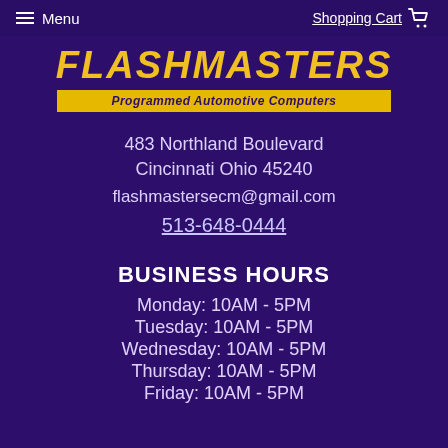Menu | Shopping Cart
[Figure (logo): Flashmasters - Programmed Automotive Computers logo with yellow bold italic text on purple background and yellow tagline bar]
483 Northland Boulevard
Cincinnati Ohio 45240
flashmastersecm@gmail.com
513-648-0444
BUSINESS HOURS
Monday: 10AM - 5PM
Tuesday: 10AM - 5PM
Wednesday: 10AM - 5PM
Thursday: 10AM - 5PM
Friday: 10AM - 5PM